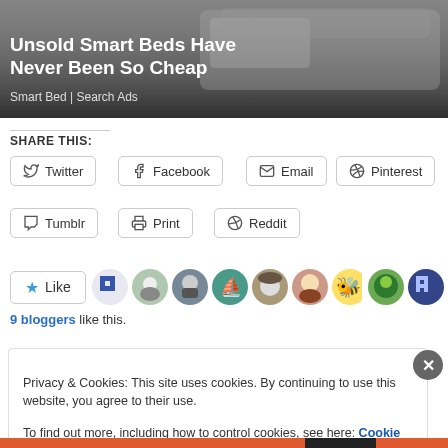[Figure (photo): Advertisement banner showing a smart bed with overlay text]
Unsold Smart Beds Have Never Been So Cheap
Smart Bed | Search Ads
SHARE THIS:
Twitter
Facebook
Email
Pinterest
Tumblr
Print
Reddit
[Figure (other): Like button with star and 9 blogger avatars]
9 bloggers like this.
Privacy & Cookies: This site uses cookies. By continuing to use this website, you agree to their use.
To find out more, including how to control cookies, see here: Cookie Policy
Close and accept